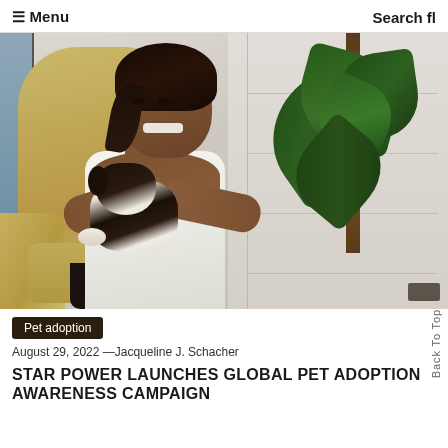☰ Menu    Search fl
[Figure (photo): A smiling woman with dark hair sits in a tan wingback chair holding a small black, white, and brown puppy. A large leafy plant is visible in the background against a tiled white wall.]
Pet adoption
August 29, 2022 —Jacqueline J. Schacher
STAR POWER LAUNCHES GLOBAL PET ADOPTION AWARENESS CAMPAIGN